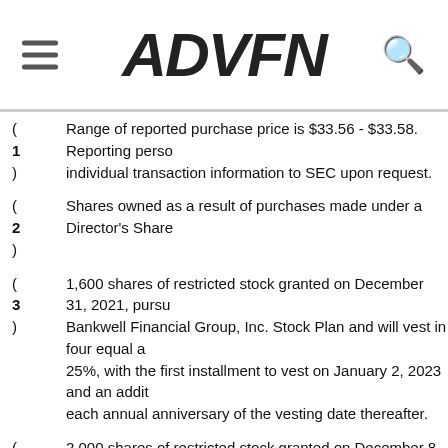ADVFN
(1) Range of reported purchase price is $33.56 - $33.58. Reporting person will provide individual transaction information to SEC upon request.
(2) Shares owned as a result of purchases made under a Director's Share purchase plan.
(3) 1,600 shares of restricted stock granted on December 31, 2021, pursuant to the Bankwell Financial Group, Inc. Stock Plan and will vest in four equal annual installments of 25%, with the first installment to vest on January 2, 2023 and an additional 25% on each annual anniversary of the vesting date thereafter.
(4) 2,000 shares of restricted stock granted on December 8, 2020, pursuant to the Bankwell Financial Group, Inc. Stock Plan and will vest in four equal annual installments of 25%, with the first installment to vest on January 2, 2022 and an additional 25% on each annual anniversary of the vesting date thereafter. As of the transaction date...